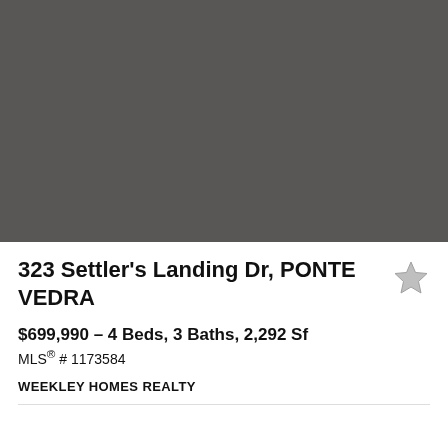[Figure (photo): Gray placeholder image for property photo]
323 Settler's Landing Dr, PONTE VEDRA
$699,990 - 4 Beds, 3 Baths, 2,292 Sf
MLS® # 1173584
WEEKLEY HOMES REALTY